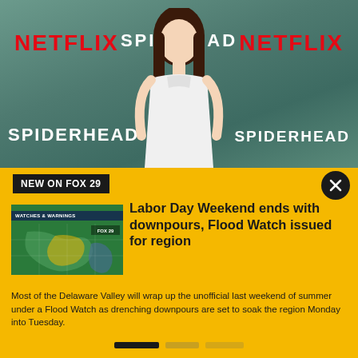[Figure (photo): Woman in white dress posing at Netflix Spiderhead premiere event backdrop with Netflix and Spiderhead logos]
NEW ON FOX 29
[Figure (screenshot): Weather map thumbnail showing watches and warnings for the region]
Labor Day Weekend ends with downpours, Flood Watch issued for region
Most of the Delaware Valley will wrap up the unofficial last weekend of summer under a Flood Watch as drenching downpours are set to soak the region Monday into Tuesday.